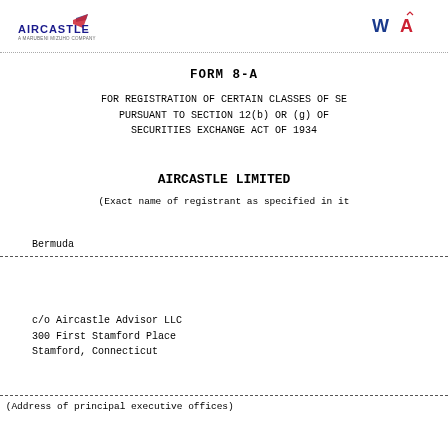AIRCASTLE [logo] | W [icon] A [icon]
FORM 8-A
FOR REGISTRATION OF CERTAIN CLASSES OF SECURITIES PURSUANT TO SECTION 12(b) OR (g) OF THE SECURITIES EXCHANGE ACT OF 1934
AIRCASTLE LIMITED
(Exact name of registrant as specified in its charter)
| State/Jurisdiction | IRS Employer ID |
| --- | --- |
| Bermuda |  |
| (State of incorporation
     or organization) | (I... |
c/o Aircastle Advisor LLC
300 First Stamford Place
Stamford, Connecticut
(Address of principal executive offices)